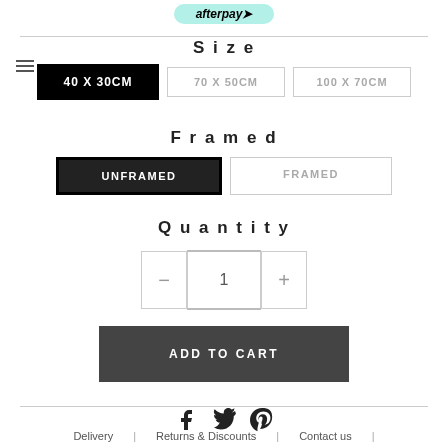[Figure (logo): Afterpay logo pill in teal/mint color at top]
Size
40 X 30CM  70 X 50CM  100 X 70CM
Framed
UNFRAMED  FRAMED
Quantity
- 1 +
ADD TO CART
Facebook  Twitter  Pinterest social icons
Delivery | Returns & Discounts | Contact us |